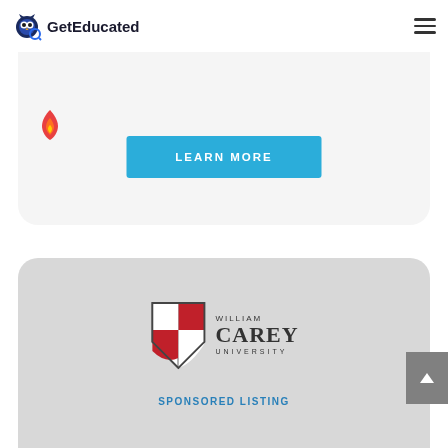GetEducated
and ethical decision-making. At Northcentral, students...
[Figure (illustration): Flame/fire icon in red-orange color]
LEARN MORE
[Figure (logo): William Carey University shield logo with red and white quadrants and cross, with text WILLIAM CAREY UNIVERSITY]
SPONSORED LISTING